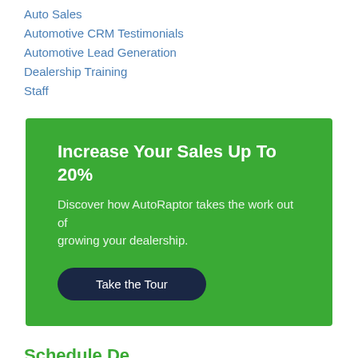Auto Sales
Automotive CRM Testimonials
Automotive Lead Generation
Dealership Training
Staff
[Figure (infographic): Green promotional banner with heading 'Increase Your Sales Up To 20%', subtext 'Discover how AutoRaptor takes the work out of growing your dealership.', and a dark navy button labeled 'Take the Tour']
Schedule De…